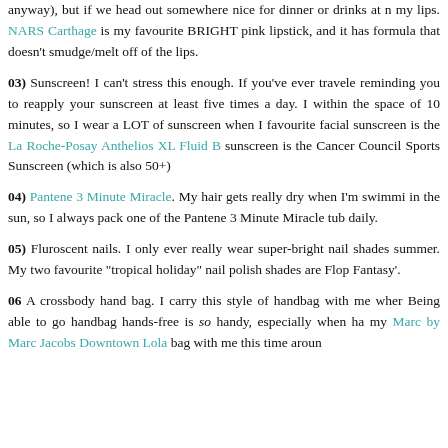anyway), but if we head out somewhere nice for dinner or drinks at night, I always put something on my lips. NARS Carthage is my favourite BRIGHT pink lipstick, and it has an amazing formula that doesn't smudge/melt off of the lips.
03) Sunscreen! I can't stress this enough. If you've ever traveled to a tropical destination, the locals are reminding you to reapply your sunscreen at least five times a day. My skin can turn red within the space of 10 minutes, so I wear a LOT of sunscreen when I'm away. My favourite facial sunscreen is the La Roche-Posay Anthelios XL Fluid B and my body sunscreen is the Cancer Council Sports Sunscreen (which is also 50+).
04) Pantene 3 Minute Miracle. My hair gets really dry when I'm swimming and in the sun, so I always pack one of the Pantene 3 Minute Miracle tubes and use it daily.
05) Fluroscent nails. I only ever really wear super-bright nail shades in the summer. My two favourite "tropical holiday" nail polish shades are Flop Fantasy'.
06 A crossbody hand bag. I carry this style of handbag with me wherever I go. Being able to go handbag hands-free is so handy, especially when ha... my Marc by Marc Jacobs Downtown Lola bag with me this time around.